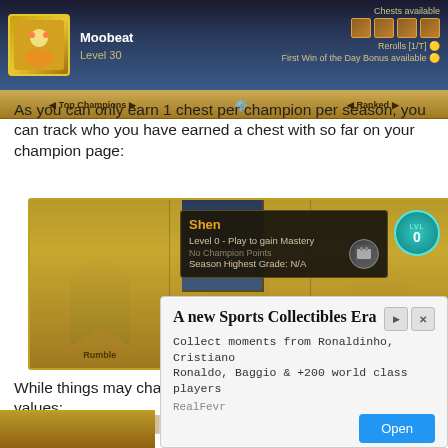[Figure (screenshot): League of Legends client screenshot showing Moobeat profile, Level 30, with Chests available and First Win of the Day Bonus available]
As you can only earn 1 chest per champion per season, you can track who you have earned a chest with so far on your champion page:
[Figure (screenshot): League of Legends champion page screenshot showing champion mastery grid with Shen tooltip: Level 0 - Play to gain Mastery, No Champion Points, Season Highest Grade: N/A. Champions visible: Rumble, Ryze, Shyvana.]
While things may change, here are a few notes on current values:
D... r...
[Figure (screenshot): Advertisement overlay: A new Sports Collectibles Era - Collect moments from Ronaldinho, Cristiano Ronaldo, Baggio & +200 world class players. RealFevr. Open button.]